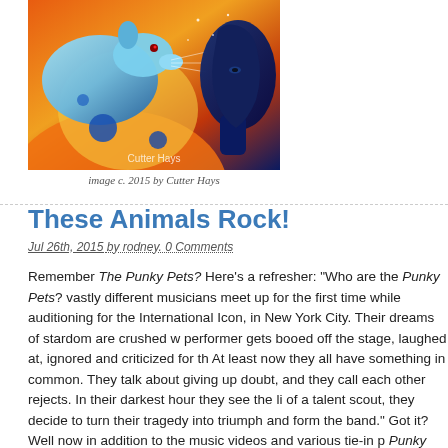[Figure (illustration): Colorful illustrated painting of a rat and a human face in profile facing each other, vivid reds, blues, yellows, oranges; watermark text 'Cutter Hays' at bottom center]
image c. 2015 by Cutter Hays
These Animals Rock!
Jul 26th, 2015 by rodney. 0 Comments
Remember The Punky Pets? Here’s a refresher: “Who are the Punky Pets? vastly different musicians meet up for the first time while auditioning for the International Icon, in New York City. Their dreams of stardom are crushed w performer gets booed off the stage, laughed at, ignored and criticized for th At least now they all have something in common. They talk about giving up doubt, and they call each other rejects. In their darkest hour they see the li of a talent scout, they decide to turn their tragedy into triumph and form the band.” Got it?  Well now in addition to the music videos and various tie-in p Punky Pets web site, there’s a new Punky Pets app game for the i-Phone a